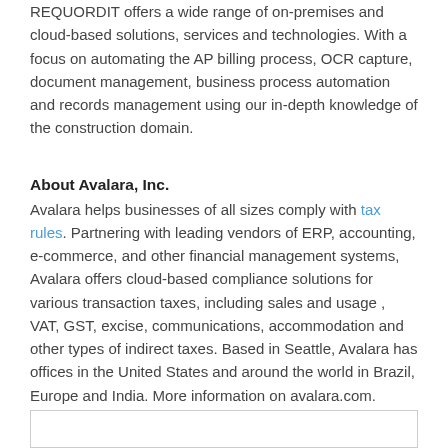REQUORDIT offers a wide range of on-premises and cloud-based solutions, services and technologies. With a focus on automating the AP billing process, OCR capture, document management, business process automation and records management using our in-depth knowledge of the construction domain.
About Avalara, Inc.
Avalara helps businesses of all sizes comply with tax rules. Partnering with leading vendors of ERP, accounting, e-commerce, and other financial management systems, Avalara offers cloud-based compliance solutions for various transaction taxes, including sales and usage , VAT, GST, excise, communications, accommodation and other types of indirect taxes. Based in Seattle, Avalara has offices in the United States and around the world in Brazil, Europe and India. More information on avalara.com.